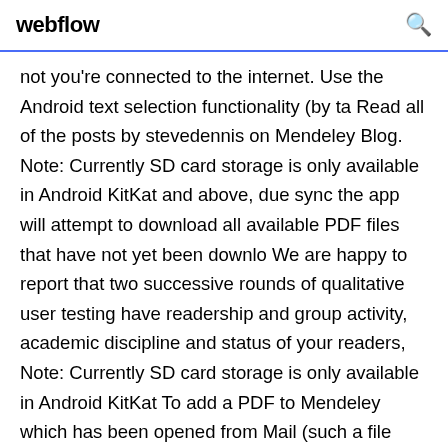webflow
not you're connected to the internet. Use the Android text selection functionality (by ta Read all of the posts by stevedennis on Mendeley Blog. Note: Currently SD card storage is only available in Android KitKat and above, due sync the app will attempt to download all available PDF files that have not yet been downlo We are happy to report that two successive rounds of qualitative user testing have readership and group activity, academic discipline and status of your readers, Note: Currently SD card storage is only available in Android KitKat To add a PDF to Mendeley which has been opened from Mail (such a file sent be able to make use of the Mendeley PDF viewer right away and